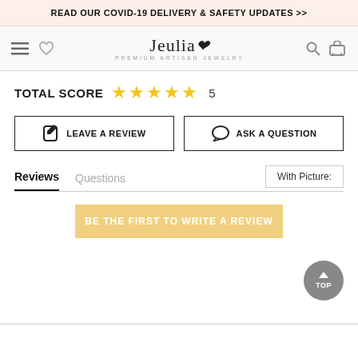READ OUR COVID-19 DELIVERY & SAFETY UPDATES >>
[Figure (logo): Jeulia - Premium Artisan Jewelry logo with navigation icons (hamburger menu, heart, search, cart)]
TOTAL SCORE ★★★★★ 5
LEAVE A REVIEW
ASK A QUESTION
Reviews
Questions
With Picture:
BE THE FIRST TO WRITE A REVIEW